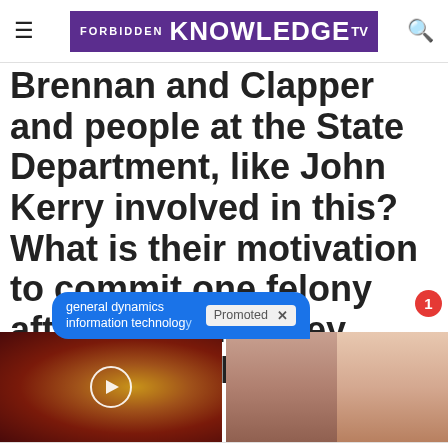FORBIDDEN KNOWLEDGE TV
Brennan and Clapper and people at the State Department, like John Kerry involved in this? What is their motivation to commit one felony after another? They must know they are committing
[Figure (screenshot): Blue promoted ad overlay for 'general dynamics information technology' with Promoted label and X close button, and red notification badge showing 1]
[Figure (photo): Left card: close-up medical/biological image with play button overlay. Right card: before/after back photo of a woman.]
Why Doctors In The Know No Longer Prescribe Metformin
These 2 Vegetables Kill Your Belly And Arm Fat Overnight
Watch The Video
Find Out More